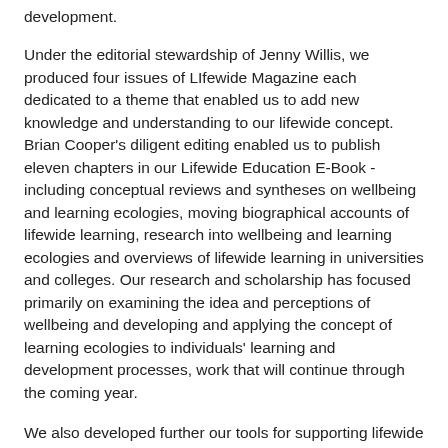development.
Under the editorial stewardship of Jenny Willis, we produced four issues of LIfewide Magazine each dedicated to a theme that enabled us to add new knowledge and understanding to our lifewide concept. Brian Cooper's diligent editing enabled us to publish eleven chapters in our Lifewide Education E-Book - including conceptual reviews and syntheses on wellbeing and learning ecologies, moving biographical accounts of lifewide learning, research into wellbeing and learning ecologies and overviews of lifewide learning in universities and colleges. Our research and scholarship has focused primarily on examining the idea and perceptions of wellbeing and developing and applying the concept of learning ecologies to individuals' learning and development processes, work that will continue through the coming year.
We also developed further our tools for supporting lifewide learning and my daughter (one of our student volunteers) helped us pilot our approach and successfully completed the Lifewide Development Award (LDA) providing future learners with an example of an on-line